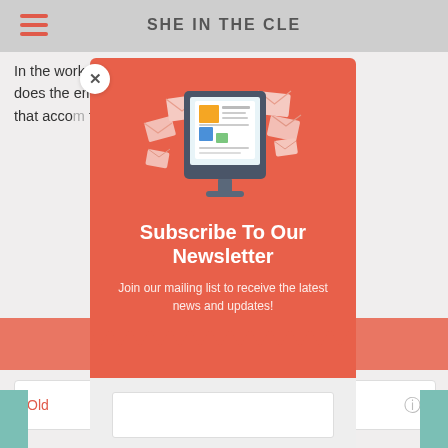SHE IN THE CLE
In the workplace, someone does the emotional labor that accomes... think... You may.
[Figure (illustration): Newsletter subscription modal popup with a coral/salmon colored card. Top section shows an illustration of a computer monitor with envelope/mail icons flying around it and newspaper pages. Below is bold white text 'Subscribe To Our Newsletter', subtitle text 'Join our mailing list to receive the latest news and updates!', a zigzag bottom edge, white email input field, and a coral Subscribe button. A white circle X close button is in the upper left of the modal.]
Subscribe To Our Newsletter
Join our mailing list to receive the latest news and updates!
SUBSCRIBE!